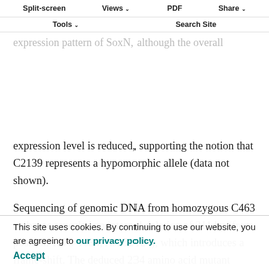Split-screen | Views | PDF | Share | Tools | Search Site
consist with them by a phenotypic null allele. By contrast, C2139 mutant embryos show a near wild-type expression pattern of SoxN, although the overall expression level is reduced, supporting the notion that C2139 represents a hypomorphic allele (data not shown).
Sequencing of genomic DNA from homozygous C463 embryos revealed an internal deletion of 311 bp (from position 1373-1684; AJ252124), which introduces a frame-shift. The deduced 234 amino acid mutant polypeptide shares the first 215 amino acids with wild-type SoxN protein followed by 19 amino acids of novel peptide sequence. This mutation removes the C-terminal part of the HMG domain and the whole transactivation domain of it (Fig. 7). This polypeptide is most probably non-functional.
This site uses cookies. By continuing to use our website, you are agreeing to our privacy policy. Accept